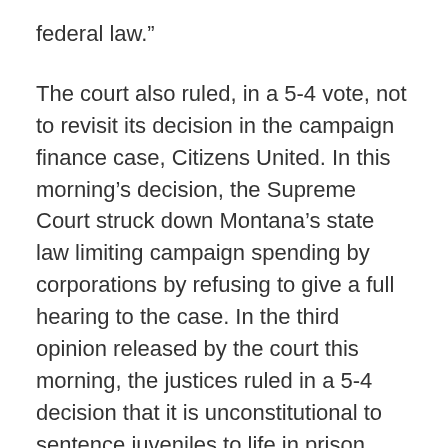federal law.”
The court also ruled, in a 5-4 vote, not to revisit its decision in the campaign finance case, Citizens United. In this morning’s decision, the Supreme Court struck down Montana’s state law limiting campaign spending by corporations by refusing to give a full hearing to the case. In the third opinion released by the court this morning, the justices ruled in a 5-4 decision that it is unconstitutional to sentence juveniles to life in prison without the chance of parole.
AP 6/25/12; Huffington Post 6/25/12; Reuters 6/25/12